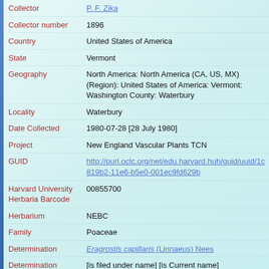| Field | Value |
| --- | --- |
| Collector | P. F. Zika |
| Collector number | 1896 |
| Country | United States of America |
| State | Vermont |
| Geography | North America: North America (CA, US, MX) (Region): United States of America: Vermont: Washington County: Waterbury |
| Locality | Waterbury |
| Date Collected | 1980-07-28 [28 July 1980] |
| Project | New England Vascular Plants TCN |
| GUID | http://purl.oclc.org/net/edu.harvard.huh/guid/uuid/1c8…19b2-11e6-b5e0-001ec9fd629b |
| Harvard University Herbaria Barcode | 00855700 |
| Herbarium | NEBC |
| Family | Poaceae |
| Determination | Eragrostis capillaris (Linnaeus) Nees |
| Determination Remarks | [is filed under name] [is Current name] |